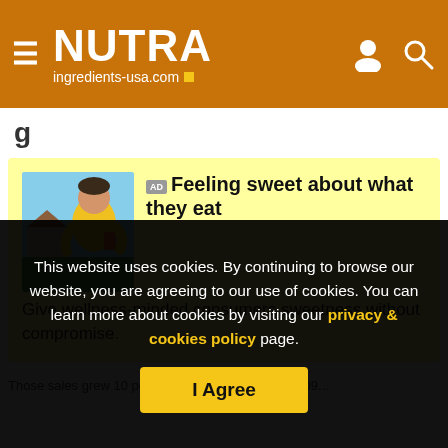NUTRA ingredients-usa.com
g...
[Figure (infographic): Advertisement banner with yellow background. Shows a man in yellow hoodie holding a drink. Headline: Feeling sweet about what they eat. Body: Give wellness-minded consumers sweetness without compromise.]
Those sales grew 10 percent between 2008 and 2009...
This website uses cookies. By continuing to browse our website, you are agreeing to our use of cookies. You can learn more about cookies by visiting our privacy & cookies policy page.